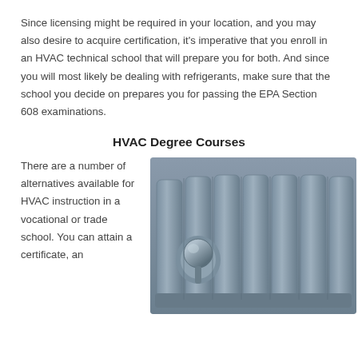Since licensing might be required in your location, and you may also desire to acquire certification, it's imperative that you enroll in an HVAC technical school that will prepare you for both. And since you will most likely be dealing with refrigerants, make sure that the school you decide on prepares you for passing the EPA Section 608 examinations.
HVAC Degree Courses
There are a number of alternatives available for HVAC instruction in a vocational or trade school. You can attain a certificate, an
[Figure (photo): Close-up photograph of a grey cast-iron radiator with a thermostatic valve knob, showing multiple fins/sections in a blue-grey color against a matching background.]